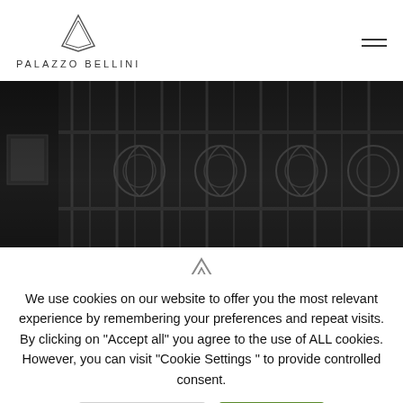[Figure (logo): Palazzo Bellini logo with triangular diamond-shaped icon and text PALAZZO BELLINI beneath]
[Figure (photo): Dark photograph of ornate iron gate with decorative scrollwork patterns]
[Figure (logo): Palazzo Bellini triangular diamond icon, centered, partially visible]
We use cookies on our website to offer you the most relevant experience by remembering your preferences and repeat visits. By clicking on "Accept all" you agree to the use of ALL cookies. However, you can visit "Cookie Settings " to provide controlled consent.
Cookie Settings
Accept All